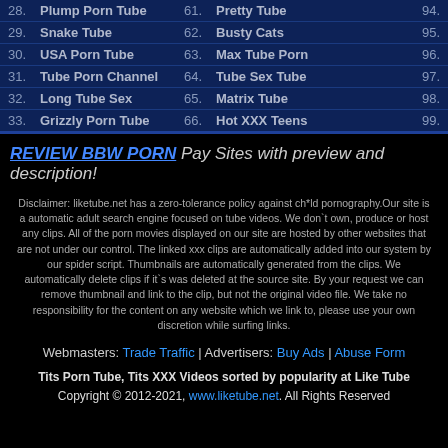| # | Name | # | Name | # |
| --- | --- | --- | --- | --- |
| 28. | Plump Porn Tube | 61. | Pretty Tube | 94. |
| 29. | Snake Tube | 62. | Busty Cats | 95. |
| 30. | USA Porn Tube | 63. | Max Tube Porn | 96. |
| 31. | Tube Porn Channel | 64. | Tube Sex Tube | 97. |
| 32. | Long Tube Sex | 65. | Matrix Tube | 98. |
| 33. | Grizzly Porn Tube | 66. | Hot XXX Teens | 99. |
REVIEW BBW PORN Pay Sites with preview and description!
Disclaimer: liketube.net has a zero-tolerance policy against ch*ld pornography.Our site is a automatic adult search engine focused on tube videos. We don`t own, produce or host any clips. All of the porn movies displayed on our site are hosted by other websites that are not under our control. The linked xxx clips are automatically added into our system by our spider script. Thumbnails are automatically generated from the clips. We automatically delete clips if it`s was deleted at the source site. By your request we can remove thumbnail and link to the clip, but not the original video file. We take no responsibility for the content on any website which we link to, please use your own discretion while surfing links.
Webmasters: Trade Traffic | Advertisers: Buy Ads | Abuse Form
Tits Porn Tube, Tits XXX Videos sorted by popularity at Like Tube Copyright © 2012-2021, www.liketube.net. All Rights Reserved